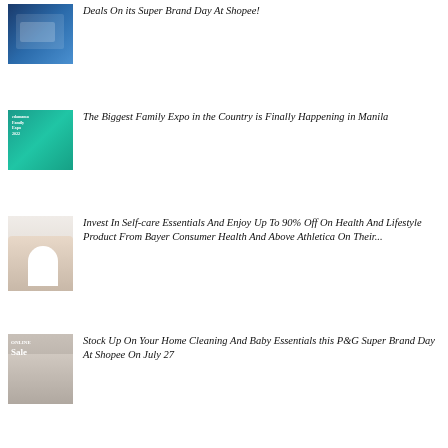[Figure (photo): Blue product packaging advertisement image for Shopee Super Brand Day]
Deals On its Super Brand Day At Shopee!
[Figure (photo): Edamama Family Expo 2022 promotional banner with teal background]
The Biggest Family Expo in the Country is Finally Happening in Manila
[Figure (photo): Mother and child on bed, woman in white clothing hugging child]
Invest In Self-care Essentials And Enjoy Up To 90% Off On Health And Lifestyle Product From Bayer Consumer Health And Above Athletica On Their...
[Figure (photo): Woman with laptop and child, online sale advertisement]
Stock Up On Your Home Cleaning And Baby Essentials this P&G Super Brand Day At Shopee On July 27